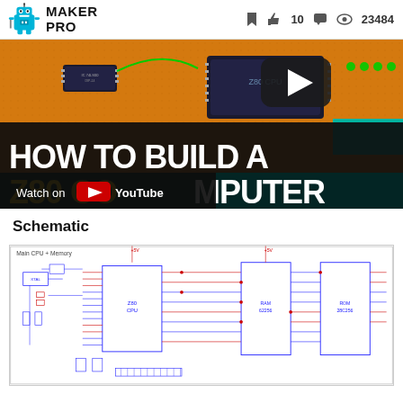MAKER PRO — bookmark, 10 likes, comments, 23484 views
[Figure (screenshot): YouTube video thumbnail showing electronic circuit board with chips. Title text reads 'HOW TO BUILD A Z80 COMPUTER'. Has 'Watch on YouTube' overlay.]
Schematic
[Figure (schematic): Electronic schematic diagram labeled 'Main CPU + Memory' showing CPU chip connections, memory chips, and various circuit components with blue and red connection lines.]